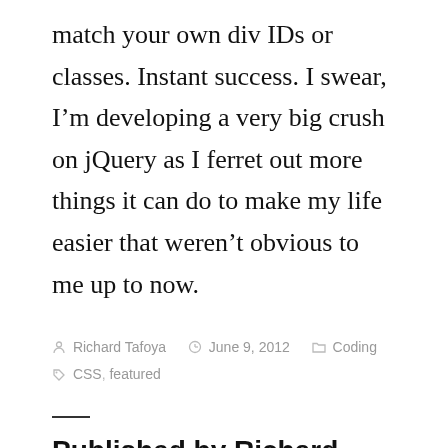match your own div IDs or classes. Instant success. I swear, I'm developing a very big crush on jQuery as I ferret out more things it can do to make my life easier that weren't obvious to me up to now.
By Richard Tafoya  June 9, 2012  Coding  CSS, featured
Published by Richard Tafoya
Richard Tafoya is a music journalist